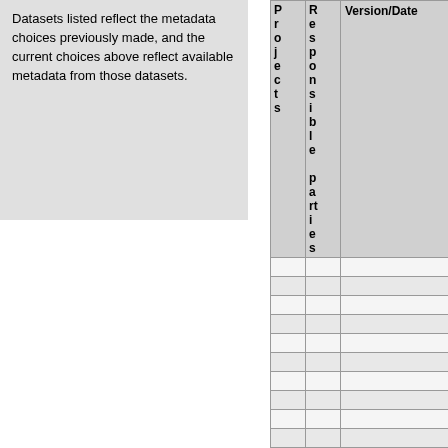Datasets listed reflect the metadata choices previously made, and the current choices above reflect available metadata from those datasets.
| Projects | Responsible parties | Version/Date |
| --- | --- | --- |
|  |  |  |
|  |  |  |
|  |  |  |
|  |  |  |
|  |  |  |
|  |  |  |
|  |  |  |
|  |  |  |
|  |  |  |
|  |  |  |
|  |  |  |
|  |  |  |
|  |  |  |
|  |  |  |
|  |  |  |
| WDCCM | UCAR/NCAR | final completed |